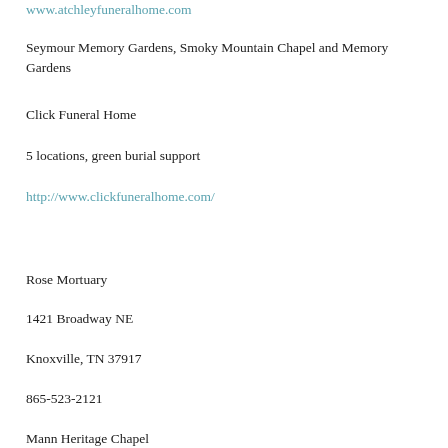www.atchleyfuneralhome.com
Seymour Memory Gardens, Smoky Mountain Chapel and Memory Gardens
Click Funeral Home
5 locations, green burial support
http://www.clickfuneralhome.com/
Rose Mortuary
1421 Broadway NE
Knoxville, TN 37917
865-523-2121
Mann Heritage Chapel
6200 Kingston Pike, Knoxville, TN 37919